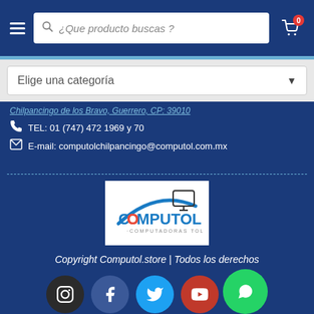[Figure (screenshot): Website header with hamburger menu, search bar with placeholder text '¿Que producto buscas?', and shopping cart icon with badge showing 0]
[Figure (screenshot): Category dropdown selector with text 'Elige una categoría']
Chilpancingo de los Bravo, Guer oro, CP: 39010
TEL: 01 (747) 472 1969 y 70
E-mail: computolchilpancingo@computol.com.mx
[Figure (logo): COMPUTOL - COMPUTADORAS TOLUCA logo with blue arc and monitor graphic]
Copyright Computol.store | Todos los derechos
[Figure (infographic): Social media icons: Instagram (dark), Facebook (blue), Twitter (light blue), YouTube (red), WhatsApp (green)]